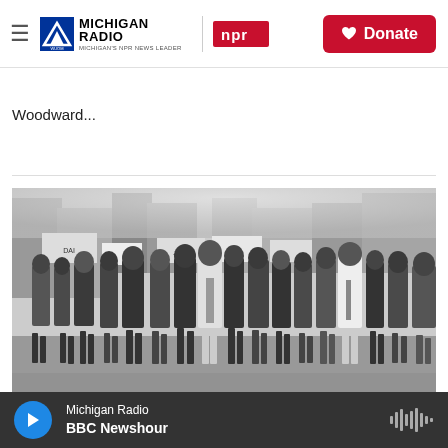Michigan Radio | NPR | Donate
Woodward...
[Figure (photo): Black and white photograph of a large civil rights march on Woodward Avenue, showing marchers in suits and ties walking arm-in-arm down a city street with signs and crowds visible in the background.]
Arts & Life
Listen to this audio from what
Michigan Radio | BBC Newshour